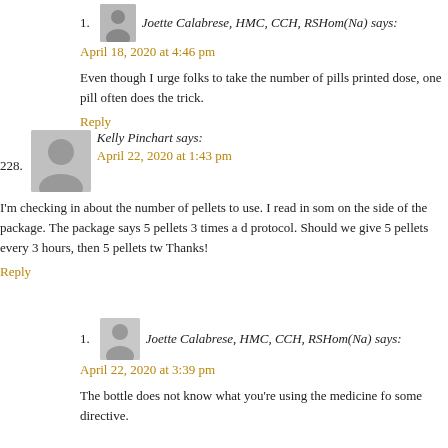1. Joette Calabrese, HMC, CCH, RSHom(Na) says:
April 18, 2020 at 4:46 pm

Even though I urge folks to take the number of pills printed dose, one pill often does the trick.

Reply
228. Kelly Pinchart says:
April 22, 2020 at 1:43 pm

I'm checking in about the number of pellets to use. I read in some on the side of the package. The package says 5 pellets 3 times a d protocol. Should we give 5 pellets every 3 hours, then 5 pellets tw Thanks!

Reply
1. Joette Calabrese, HMC, CCH, RSHom(Na) says:
April 22, 2020 at 3:39 pm

The bottle does not know what you're using the medicine fo some directive.